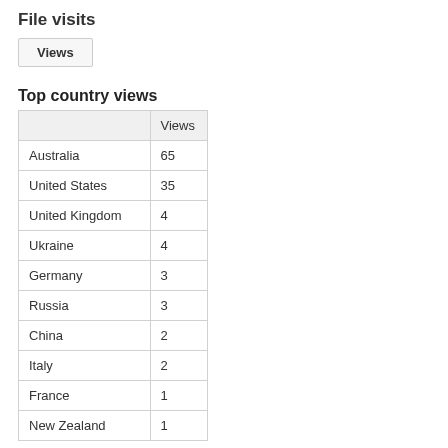File visits
Views
Top country views
|  | Views |
| --- | --- |
| Australia | 65 |
| United States | 35 |
| United Kingdom | 4 |
| Ukraine | 4 |
| Germany | 3 |
| Russia | 3 |
| China | 2 |
| Italy | 2 |
| France | 1 |
| New Zealand | 1 |